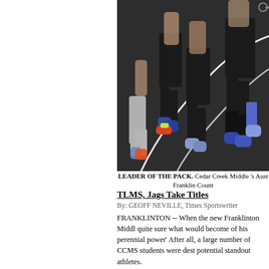[Figure (photo): Runners on a track, showing legs and feet mid-stride. Athletes wearing black shorts and colorful sneakers running on a dark asphalt track with white lane lines.]
LEADER OF THE PACK. Cedar Creek Middle 's Aust Franklin Count
TLMS, Jags Take Titles
By: GEOFF NEVILLE, Times Sportswriter
FRANKLINTON -- When the new Franklinton Middl quite sure what would become of his perennial power' After all, a large number of CCMS students were dest potential standout athletes.
Read More | Post Comment